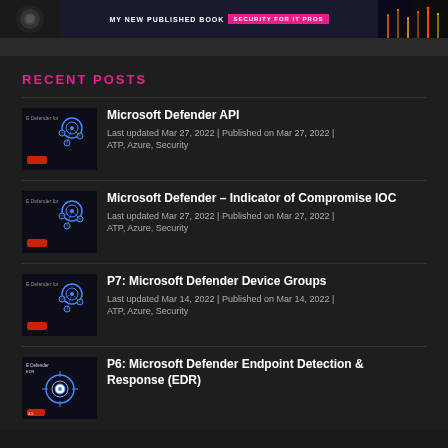[Figure (photo): Banner advertisement for a book about security for IT pros, with pink accent text and city night lights on right side]
RECENT POSTS
Microsoft Defender API — Last updated Mar 27, 2022 | Published on Mar 27, 2022 | ATP, Azure, Security
Microsoft Defender – Indicator of Compromise IOC — Last updated Mar 27, 2022 | Published on Mar 27, 2022 | ATP, Azure, Security
P7: Microsoft Defender Device Groups — Last updated Mar 14, 2022 | Published on Mar 14, 2022 | ATP, Azure, Security
P6: Microsoft Defender Endpoint Detection & Response (EDR)